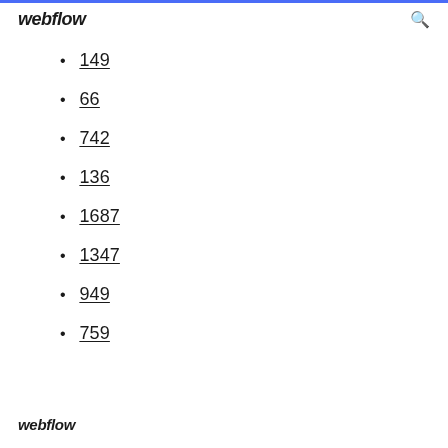webflow
149
66
742
136
1687
1347
949
759
webflow